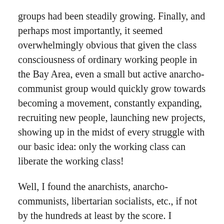groups had been steadily growing. Finally, and perhaps most importantly, it seemed overwhelmingly obvious that given the class consciousness of ordinary working people in the Bay Area, even a small but active anarcho-communist group would quickly grow towards becoming a movement, constantly expanding, recruiting new people, launching new projects, showing up in the midst of every struggle with our basic idea: only the working class can liberate the working class!
Well, I found the anarchists, anarcho-communists, libertarian socialists, etc., if not by the hundreds at least by the score. I attended one meeting with more than 50 people present and a number of others with from 30 to 40 people present. Not bad for a start, right?